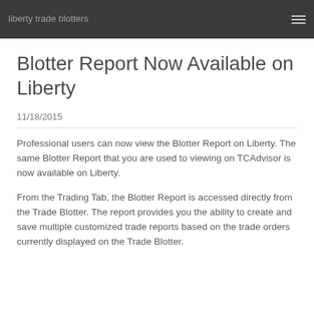liberty trade blotters
Blotter Report Now Available on Liberty
11/18/2015
Professional users can now view the Blotter Report on Liberty. The same Blotter Report that you are used to viewing on TCAdvisor is now available on Liberty.
From the Trading Tab, the Blotter Report is accessed directly from the Trade Blotter. The report provides you the ability to create and save multiple customized trade reports based on the trade orders currently displayed on the Trade Blotter.